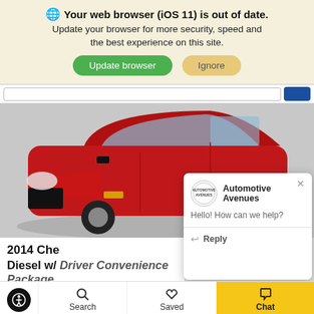Your web browser (iOS 11) is out of date. Update your browser for more security, speed and the best experience on this site. Update browser | Ignore
[Figure (screenshot): Red Chevrolet car (2014) on a showroom floor, photographed from the front-left angle. A chat popup from 'Automotive Avenues' overlays the lower-right of the car image, with the message 'Hello! How can we help?' and a Reply option.]
2014 Che Diesel w/ Driver Convenience Package
Automotive Avenues
Hello! How can we help?
Reply
Search | Saved | Chat | Filter